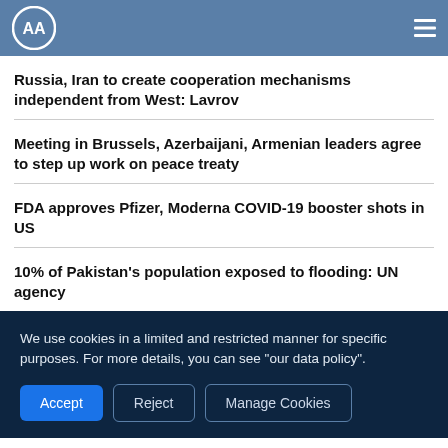AA (Anadolu Agency) logo and navigation
Russia, Iran to create cooperation mechanisms independent from West: Lavrov
Meeting in Brussels, Azerbaijani, Armenian leaders agree to step up work on peace treaty
FDA approves Pfizer, Moderna COVID-19 booster shots in US
10% of Pakistan's population exposed to flooding: UN agency
We use cookies in a limited and restricted manner for specific purposes. For more details, you can see "our data policy".
Accept
Reject
Manage Cookies